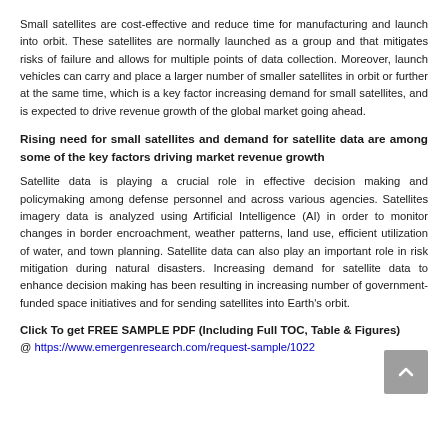Small satellites are cost-effective and reduce time for manufacturing and launch into orbit. These satellites are normally launched as a group and that mitigates risks of failure and allows for multiple points of data collection. Moreover, launch vehicles can carry and place a larger number of smaller satellites in orbit or further at the same time, which is a key factor increasing demand for small satellites, and is expected to drive revenue growth of the global market going ahead.
Rising need for small satellites and demand for satellite data are among some of the key factors driving market revenue growth
Satellite data is playing a crucial role in effective decision making and policymaking among defense personnel and across various agencies. Satellites imagery data is analyzed using Artificial Intelligence (AI) in order to monitor changes in border encroachment, weather patterns, land use, efficient utilization of water, and town planning. Satellite data can also play an important role in risk mitigation during natural disasters. Increasing demand for satellite data to enhance decision making has been resulting in increasing number of government-funded space initiatives and for sending satellites into Earth's orbit.
Click To get FREE SAMPLE PDF (Including Full TOC, Table & Figures) @ https://www.emergenresearch.com/request-sample/1022